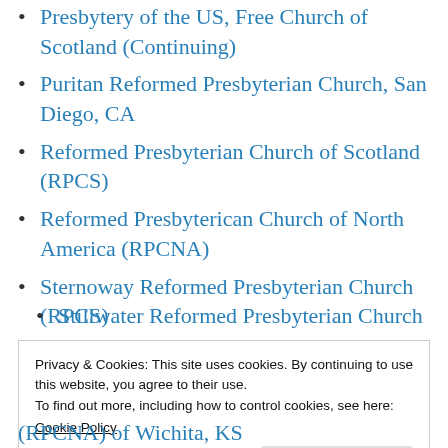Presbytery of the US, Free Church of Scotland (Continuing)
Puritan Reformed Presbyterian Church, San Diego, CA
Reformed Presbyterian Church of Scotland (RPCS)
Reformed Presbyterican Church of North America (RPCNA)
Sternoway Reformed Presbyterian Church (RPCS)
Stillwater Reformed Presbyterian Church (partial, cut off)
Privacy & Cookies: This site uses cookies. By continuing to use this website, you agree to their use.
To find out more, including how to control cookies, see here:
Cookie Policy
(RPCNA) of Wichita, KS